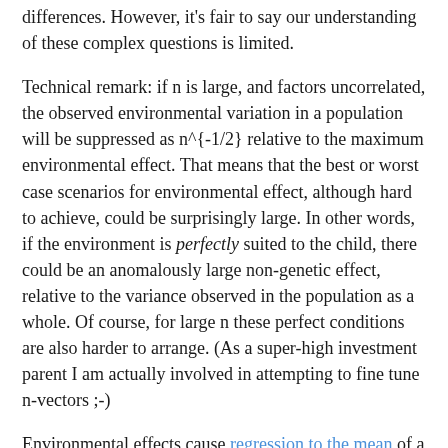differences. However, it's fair to say our understanding of these complex questions is limited.
Technical remark: if n is large, and factors uncorrelated, the observed environmental variation in a population will be suppressed as n^{-1/2} relative to the maximum environmental effect. That means that the best or worst case scenarios for environmental effect, although hard to achieve, could be surprisingly large. In other words, if the environment is perfectly suited to the child, there could be an anomalously large non-genetic effect, relative to the variance observed in the population as a whole. Of course, for large n these perfect conditions are also harder to arrange. (As a super-high investment parent I am actually involved in attempting to fine tune n-vectors ;-)
Environmental effects cause regression to the mean of a child relative to the parental midpoint. Parents who are well above average likely benefited from a good match between their environment and individual proclivities, as well as from good genes. This match is difficult to replicate for their children -- only genes are passed on with certainty.